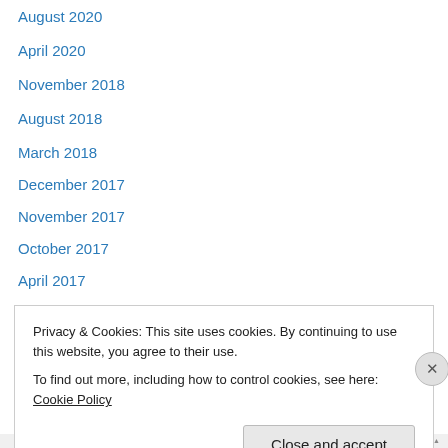August 2020
April 2020
November 2018
August 2018
March 2018
December 2017
November 2017
October 2017
April 2017
March 2017
December 2016
November 2016
June 2016
May 2016
Privacy & Cookies: This site uses cookies. By continuing to use this website, you agree to their use. To find out more, including how to control cookies, see here: Cookie Policy
Close and accept